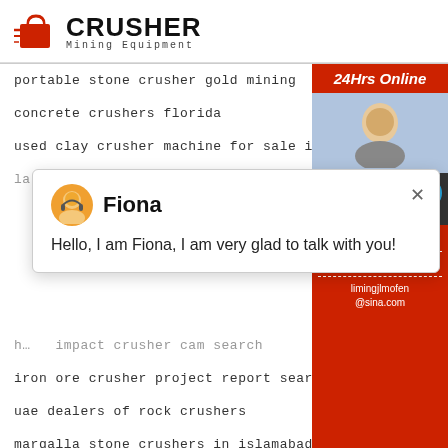[Figure (logo): Crusher Mining Equipment logo with red shopping bag icon and bold CRUSHER text]
portable stone crusher gold mining
concrete crushers florida
used clay crusher machine for sale in malaysia
(truncated line)
[Figure (screenshot): Chat popup with avatar of Fiona, message: Hello, I am Fiona, I am very glad to talk with you!]
horizontal impact crusher cam search
iron ore crusher project report search results
uae dealers of rock crushers
margalla stone crushers in islamabad
chrome ore processing plant supplier
[Figure (infographic): Red sidebar panel with 24Hrs Online label, Need & suggestions section with blue badge showing 1, Chat Now button, Enquiry section, and limingjlmofen@sina.com email]